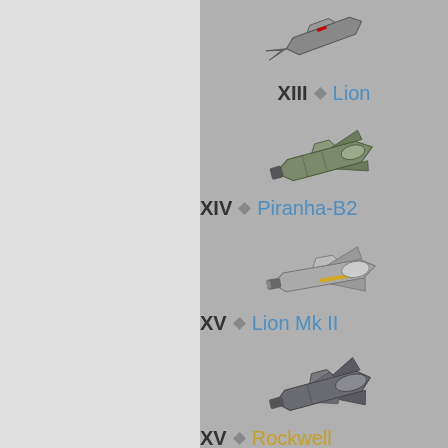XIII ◆ Lion
[Figure (illustration): Spacecraft/robot illustration for Lion (rank XIII)]
XIV ◆ Piranha-B2
[Figure (illustration): Spacecraft/robot illustration for Piranha-B2 (rank XIV)]
XV ◆ Lion Mk II
[Figure (illustration): Spacecraft/robot illustration for Lion Mk II (rank XV)]
XV ◆ Rockwell
[Figure (illustration): Spacecraft/robot illustration for Rockwell (rank XV)]
[Figure (illustration): Partially visible spacecraft/robot illustration at bottom]